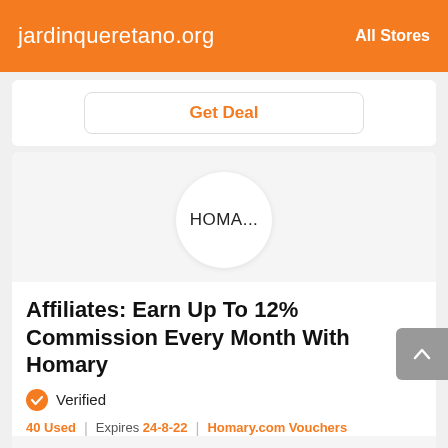jardinqueretano.org   All Stores
Get Deal
[Figure (logo): HOMA... circular logo placeholder]
Affiliates: Earn Up To 12% Commission Every Month With Homary
Verified
40 Used | Expires 24-8-22 | Homary.com Vouchers
Get Deal